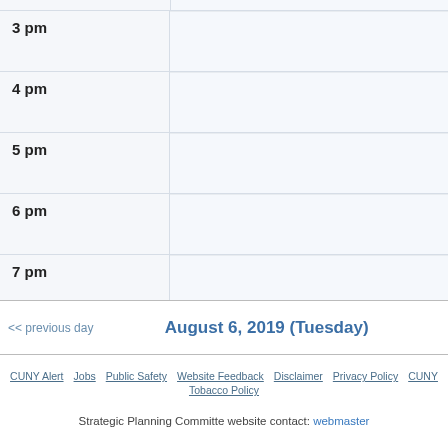| Time |  |
| --- | --- |
| 3 pm |  |
| 4 pm |  |
| 5 pm |  |
| 6 pm |  |
| 7 pm |  |
<< previous day     August 6, 2019 (Tuesday)
CUNY Alert   Jobs   Public Safety   Website Feedback   Disclaimer   Privacy Policy   CUNY   Tobacco Policy
Strategic Planning Committe website contact: webmaster